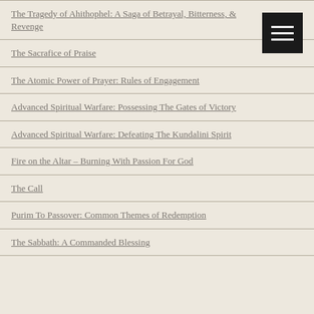The Tragedy of Ahithophel: A Saga of Betrayal, Bitterness, & Revenge
The Sacrafice of Praise
The Atomic Power of Prayer: Rules of Engagement
Advanced Spiritual Warfare: Possessing The Gates of Victory
Advanced Spiritual Warfare: Defeating The Kundalini Spirit
Fire on the Altar – Burning With Passion For God
The Call
Purim To Passover: Common Themes of Redemption
The Sabbath: A Commanded Blessing